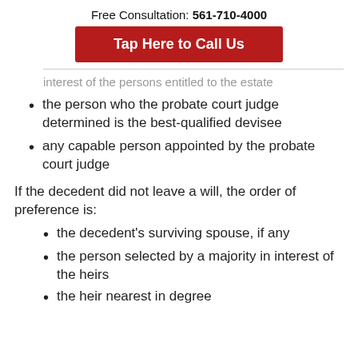Free Consultation: 561-710-4000
Tap Here to Call Us
interest of the persons entitled to the estate
the person who the probate court judge determined is the best-qualified devisee
any capable person appointed by the probate court judge
If the decedent did not leave a will, the order of preference is:
the decedent's surviving spouse, if any
the person selected by a majority in interest of the heirs
the heir nearest in degree